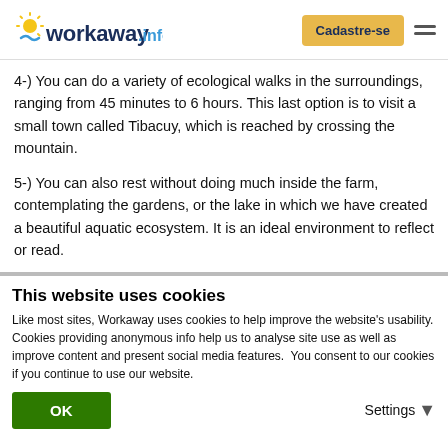workaway.info | Cadastre-se
4-) You can do a variety of ecological walks in the surroundings, ranging from 45 minutes to 6 hours. This last option is to visit a small town called Tibacuy, which is reached by crossing the mountain.
5-) You can also rest without doing much inside the farm, contemplating the gardens, or the lake in which we have created a beautiful aquatic ecosystem. It is an ideal environment to reflect or read.
This website uses cookies
Like most sites, Workaway uses cookies to help improve the website's usability. Cookies providing anonymous info help us to analyse site use as well as improve content and present social media features.  You consent to our cookies if you continue to use our website.